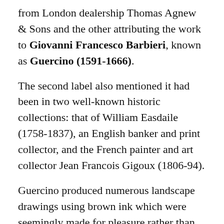from London dealership Thomas Agnew & Sons and the other attributing the work to Giovanni Francesco Barbieri, known as Guercino (1591-1666).
The second label also mentioned it had been in two well-known historic collections: that of William Easdaile (1758-1837), an English banker and print collector, and the French painter and art collector Jean Francois Gigoux (1806-94).
Guercino produced numerous landscape drawings using brown ink which were seemingly made for pleasure rather than formal commissions or studies for larger paintings.
Indeed, he is believed to have executed a greater number of such drawings than any other Italian artist of the period.
Given their prevalence and value, imitations emerged later in the 18th century (some were created as